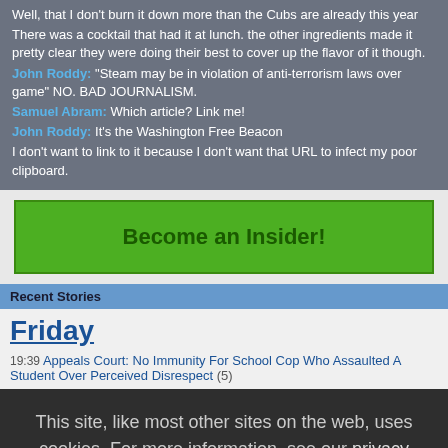Well, that I don't burn it down more than the Cubs are already this year
There was a cocktail that had it at lunch. the other ingredients made it pretty clear they were doing their best to cover up the flavor of it though.
John Roddy: "Steam may be in violation of anti-terrorism laws over game" NO. BAD JOURNALISM.
Samuel Abram: Which article? Link me!
John Roddy: It's the Washington Free Beacon
I don't want to link to it because I don't want that URL to infect my poor clipboard.
[Figure (other): Green 'Become an Insider!' button]
Recent Stories
Friday
19:39 Appeals Court: No Immunity For School Cop Who Assaulted A Student Over Perceived Disrespect (5)
This site, like most other sites on the web, uses cookies. For more information, see our privacy policy
[Figure (other): Yellow 'GOT IT' button for cookie consent]